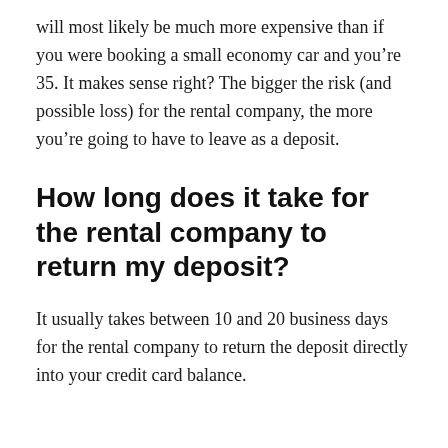will most likely be much more expensive than if you were booking a small economy car and you’re 35. It makes sense right? The bigger the risk (and possible loss) for the rental company, the more you’re going to have to leave as a deposit.
How long does it take for the rental company to return my deposit?
It usually takes between 10 and 20 business days for the rental company to return the deposit directly into your credit card balance.